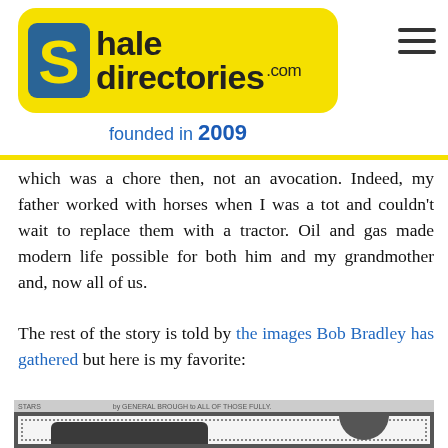[Figure (logo): ShaleDirectories.com logo on yellow rounded rectangle background with S icon, text 'hale directories.com', and 'founded in 2009' below]
which was a chore then, not an avocation. Indeed, my father worked with horses when I was a tot and couldn't wait to replace them with a tractor. Oil and gas made modern life possible for both him and my grandmother and, now all of us.
The rest of the story is told by the images Bob Bradley has gathered but here is my favorite:
[Figure (photo): Black and white scanned historical image with decorative border, partially visible, showing a dark rectangular shape on left and a circular shape on right]